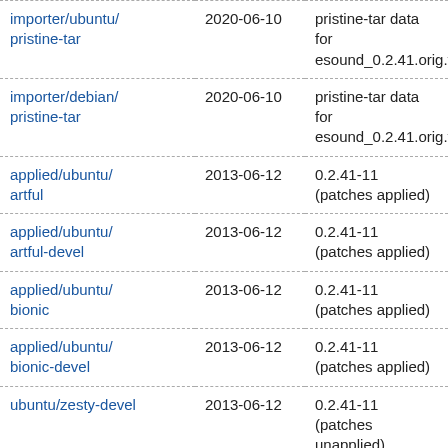| Branch | Date | Description |
| --- | --- | --- |
| importer/ubuntu/pristine-tar | 2020-06-10 | pristine-tar data for esound_0.2.41.orig.tar.gz |
| importer/debian/pristine-tar | 2020-06-10 | pristine-tar data for esound_0.2.41.orig.tar.gz |
| applied/ubuntu/artful | 2013-06-12 | 0.2.41-11 (patches applied) |
| applied/ubuntu/artful-devel | 2013-06-12 | 0.2.41-11 (patches applied) |
| applied/ubuntu/bionic | 2013-06-12 | 0.2.41-11 (patches applied) |
| applied/ubuntu/bionic-devel | 2013-06-12 | 0.2.41-11 (patches applied) |
| ubuntu/zesty-devel | 2013-06-12 | 0.2.41-11 (patches unapplied) |
| applied/debian/jessie | 2013-06-12 | 0.2.41-11 (patches applied) |
| applied/debian/sid | 2013-06-12 | 0.2.41-11 (patches applied) |
| applied/debian/stretch | 2013-06-12 | 0.2.41-11 (patches applied) |
| applied/ubuntu/ | 2013-06-12 | 0.2.41-11 (patches |